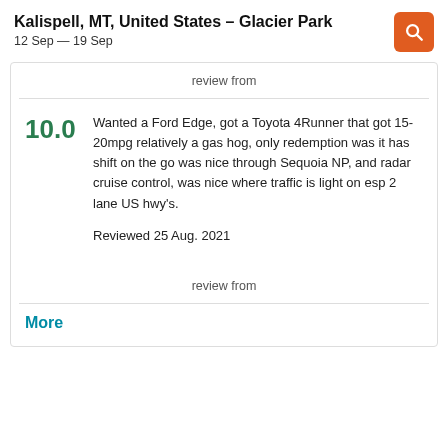Kalispell, MT, United States – Glacier Park
12 Sep — 19 Sep
review from
10.0  Wanted a Ford Edge, got a Toyota 4Runner that got 15-20mpg relatively a gas hog, only redemption was it has shift on the go was nice through Sequoia NP, and radar cruise control, was nice where traffic is light on esp 2 lane US hwy's.

Reviewed 25 Aug. 2021
review from
More